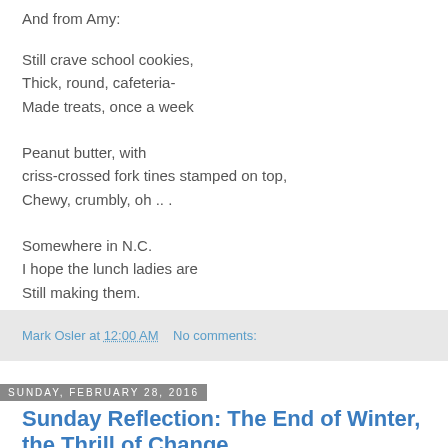And from Amy:
Still crave school cookies,
Thick, round, cafeteria-
Made treats, once a week

Peanut butter, with
criss-crossed fork tines stamped on top,
Chewy, crumbly, oh .. .

Somewhere in N.C.
I hope the lunch ladies are
Still making them.
Mark Osler at 12:00 AM   No comments:
Sunday, February 28, 2016
Sunday Reflection: The End of Winter, the Thrill of Change